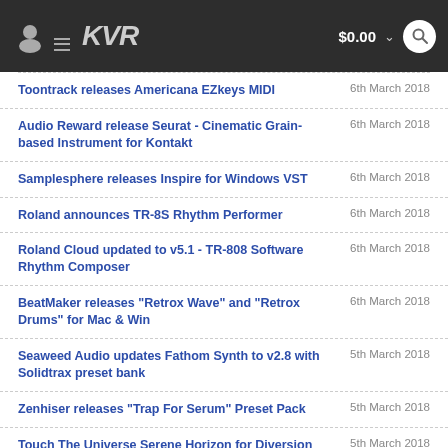KVR Audio — $0.00
Toontrack releases Americana EZkeys MIDI — 6th March 2018
Audio Reward release Seurat - Cinematic Grain-based Instrument for Kontakt — 6th March 2018
Samplesphere releases Inspire for Windows VST — 6th March 2018
Roland announces TR-8S Rhythm Performer — 6th March 2018
Roland Cloud updated to v5.1 - TR-808 Software Rhythm Composer — 6th March 2018
BeatMaker releases "Retrox Wave" and "Retrox Drums" for Mac & Win — 6th March 2018
Seaweed Audio updates Fathom Synth to v2.8 with Solidtrax preset bank — 5th March 2018
Zenhiser releases "Trap For Serum" Preset Pack — 5th March 2018
Touch The Universe Serene Horizon for Diversion 40% — 5th March 2018